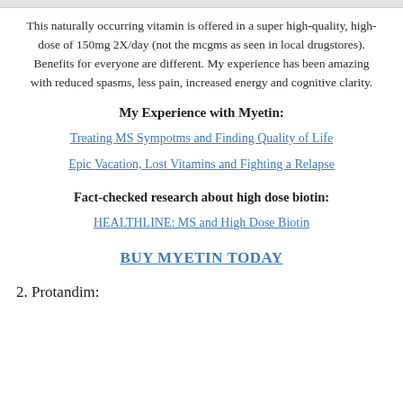This naturally occurring vitamin is offered in a super high-quality, high-dose of 150mg 2X/day (not the mcgms as seen in local drugstores).  Benefits for everyone are different.  My experience has been amazing with reduced spasms, less pain, increased energy and cognitive clarity.
My Experience with Myetin:
Treating MS Sympotms and Finding Quality of Life
Epic Vacation, Lost Vitamins and Fighting a Relapse
Fact-checked research about high dose biotin:
HEALTHLINE:  MS and High Dose Biotin
BUY MYETIN TODAY
2. Protandim: